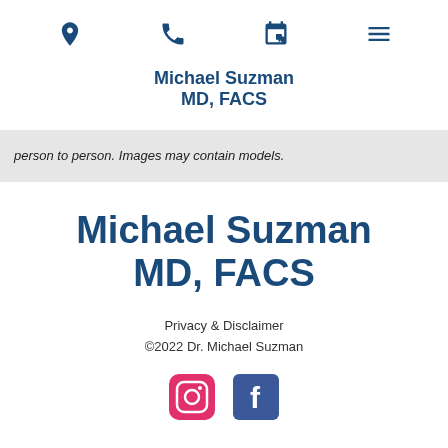[navigation icons: location, phone, calendar, menu]
Michael Suzman MD, FACS
person to person. Images may contain models.
Michael Suzman MD, FACS
Privacy & Disclaimer ©2022 Dr. Michael Suzman
[Figure (logo): Instagram and Facebook social media icons]